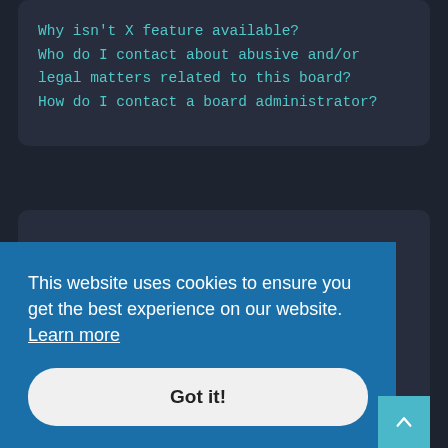Why isn't X feature available?
Who do I contact about abusive and/or legal matters related to this board?
How do I contact a board administrator?
Login and Registration Issues
Why do I need to register?
You may not have to, it is up to the administrator of the board as to whether you need to register in order to post messages. However, registration will give you access to additional features not available to guest users such as definable avatar images, private messaging, emailing of fellow users, usergroup subscription, etc. It only takes a few moments to register so why not do so.
What is COPPA?
This website uses cookies to ensure you get the best experience on our website. Learn more
Got it!